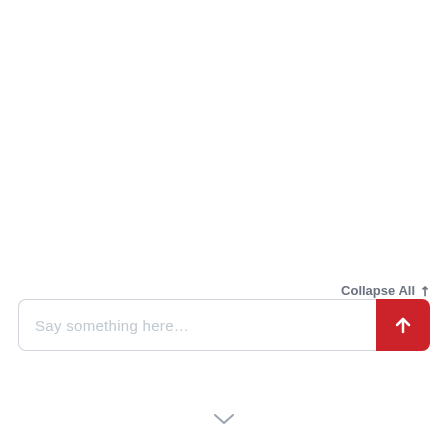Collapse All ↗
[Figure (screenshot): A text input field with placeholder text 'Say something here...' and a red send button with an upward arrow icon on the right.]
[Figure (other): A small chevron/arrow pointing downward at the bottom center of the page.]